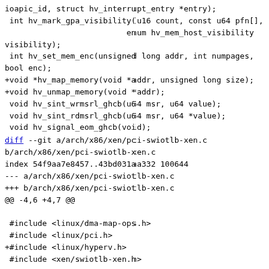ioapic_id, struct hv_interrupt_entry *entry);
 int hv_mark_gpa_visibility(u16 count, const u64 pfn[],
                          enum hv_mem_host_visibility
visibility);
 int hv_set_mem_enc(unsigned long addr, int numpages,
bool enc);
+void *hv_map_memory(void *addr, unsigned long size);
+void hv_unmap_memory(void *addr);
 void hv_sint_wrmsrl_ghcb(u64 msr, u64 value);
 void hv_sint_rdmsrl_ghcb(u64 msr, u64 *value);
 void hv_signal_eom_ghcb(void);
diff --git a/arch/x86/xen/pci-swiotlb-xen.c
b/arch/x86/xen/pci-swiotlb-xen.c
index 54f9aa7e8457..43bd031aa332 100644
--- a/arch/x86/xen/pci-swiotlb-xen.c
+++ b/arch/x86/xen/pci-swiotlb-xen.c
@@ -4,6 +4,7 @@

 #include <linux/dma-map-ops.h>
 #include <linux/pci.h>
+#include <linux/hyperv.h>
 #include <xen/swiotlb-xen.h>

 #include <asm/xen/hypervisor.h>
@@ -91,6 +92,6 @@ int pci_xen_swiotlb_init_late(void)
 EXPORT_SYMBOL_GPL(pci_xen_swiotlb_init_late);

 IOMMU_INIT_FINISH(pci_xen_swiotlb_detect,
-                          NULL,
+                          hyperv_swiotlb_detect,